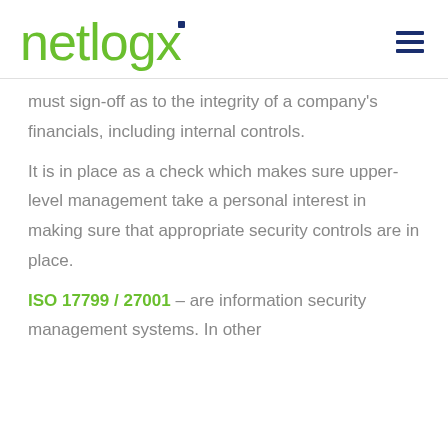netlogx
must sign-off as to the integrity of a company's financials, including internal controls.
It is in place as a check which makes sure upper-level management take a personal interest in making sure that appropriate security controls are in place.
ISO 17799 / 27001 – are information security management systems. In other